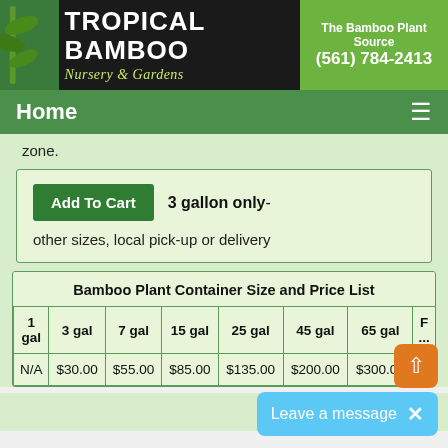TROPICAL BAMBOO Nursery & Gardens | The Bamboo Plant Source (561) 784-2413
Home
zone.
Add To Cart  3 gallon only- other sizes, local pick-up or delivery
| 1 gal | 3 gal | 7 gal | 15 gal | 25 gal | 45 gal | 65 gal | ... |
| --- | --- | --- | --- | --- | --- | --- | --- |
| N/A | $30.00 | $55.00 | $85.00 | $135.00 | $200.00 | $300.00 | $... |
Bamboo Plant Container Size and Price List